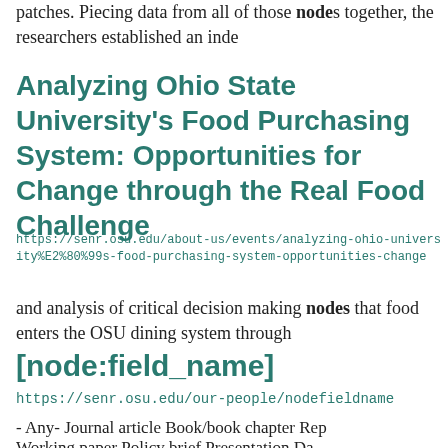patches. Piecing data from all of those nodes together, the researchers established an inde
Analyzing Ohio State University's Food Purchasing System: Opportunities for Change through the Real Food Challenge
https://senr.osu.edu/about-us/events/analyzing-ohio-university%E2%80%99s-food-purchasing-system-opportunities-change
and analysis of critical decision making nodes that food enters the OSU dining system through
[node:field_name]
https://senr.osu.edu/our-people/nodefieldname
- Any- Journal article Book/book chapter Rep
Working paper Policy brief Presentation Da